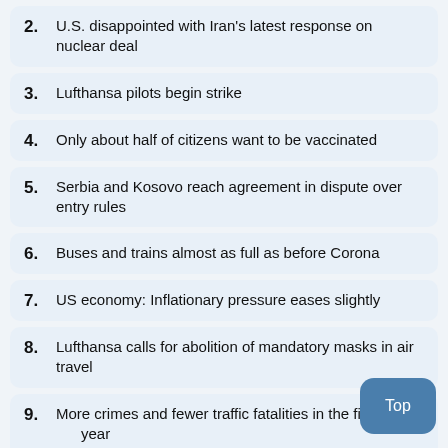2. U.S. disappointed with Iran's latest response on nuclear deal
3. Lufthansa pilots begin strike
4. Only about half of citizens want to be vaccinated
5. Serbia and Kosovo reach agreement in dispute over entry rules
6. Buses and trains almost as full as before Corona
7. US economy: Inflationary pressure eases slightly
8. Lufthansa calls for abolition of mandatory masks in air travel
9. More crimes and fewer traffic fatalities in the first half of the year